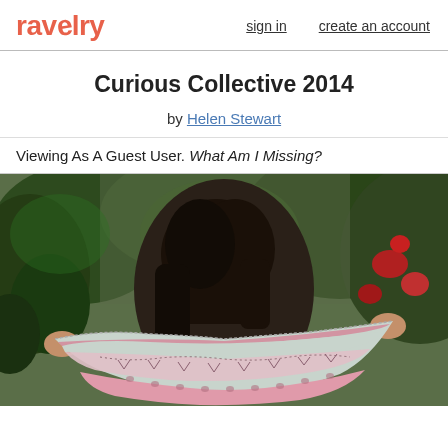ravelry   sign in   create an account
Curious Collective 2014
by Helen Stewart
Viewing As A Guest User. What Am I Missing?
[Figure (photo): Woman with dark hair seen from behind, holding up a light grey and pink knitted shawl with lace edging, with green foliage and red flowers in the background.]